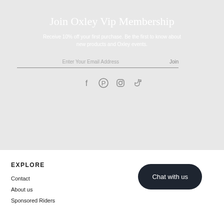Join Oxley Vip Membership
Receive 10% off your first purchase. Be the first to know about new products and Oxley events.
Enter Your Email Address    Join
[Figure (infographic): Social media icons: Facebook, Pinterest, Instagram, TikTok]
EXPLORE
Contact
About us
Sponsored Riders
Chat with us